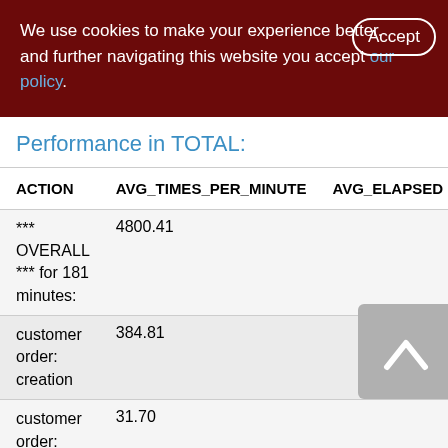We use cookies to make your experience better. By accepting and further navigating this website you accept our policy.
Performance in TOTAL:
| ACTION | AVG_TIMES_PER_MINUTE | AVG_ELAPSED |
| --- | --- | --- |
| *** OVERALL *** for 181 minutes: | 4800.41 |  |
| customer order: creation | 384.81 |  |
| customer order: | 31.70 |  |